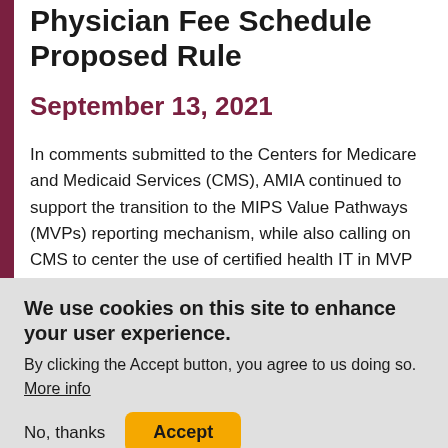Physician Fee Schedule Proposed Rule
September 13, 2021
In comments submitted to the Centers for Medicare and Medicaid Services (CMS), AMIA continued to support the transition to the MIPS Value Pathways (MVPs) reporting mechanism, while also calling on CMS to center the use of certified health IT in MVP design. AMIA also urged CMS to align Promoting
We use cookies on this site to enhance your user experience.
By clicking the Accept button, you agree to us doing so.
More info
No, thanks
Accept